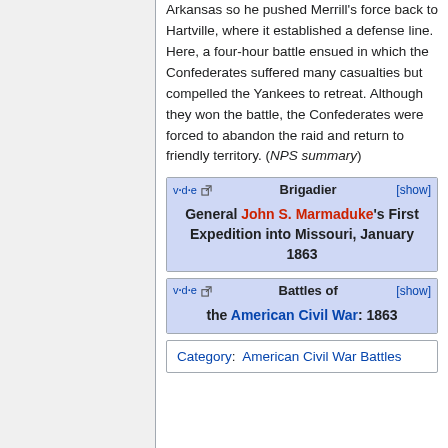Arkansas so he pushed Merrill's force back to Hartville, where it established a defense line. Here, a four-hour battle ensued in which the Confederates suffered many casualties but compelled the Yankees to retreat. Although they won the battle, the Confederates were forced to abandon the raid and return to friendly territory. (NPS summary)
| v·d·e [external] | Brigadier General John S. Marmaduke's First Expedition into Missouri, January 1863 | [show] |
| v·d·e [external] | Battles of the American Civil War: 1863 | [show] |
Category: American Civil War Battles